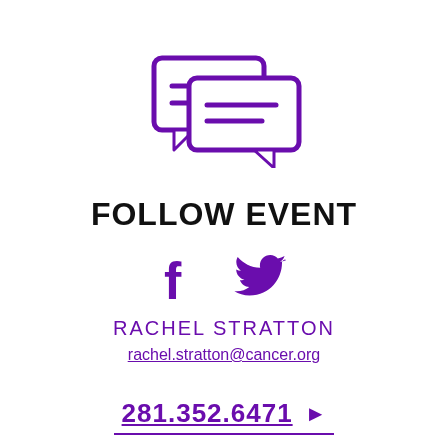[Figure (illustration): Two overlapping speech bubble / chat message icons in purple outline style]
FOLLOW EVENT
[Figure (illustration): Facebook and Twitter social media icons in solid purple]
RACHEL STRATTON
rachel.stratton@cancer.org
281.352.6471 ▶